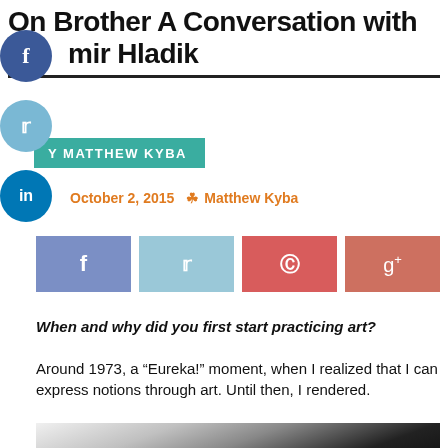On Brother A Conversation with mir Hladik
BY MATTHEW KYBA
October 2, 2015  Matthew Kyba
[Figure (screenshot): Social share buttons row: Facebook (blue-purple), Twitter (light blue), Pinterest (red), Google+ (salmon-red)]
When and why did you first start practicing art?
Around 1973, a “Eureka!” moment, when I realized that I can express notions through art. Until then, I rendered.
[Figure (photo): Black and white photograph showing abstract sculptural forms, possibly hands or organic shapes with dramatic lighting]